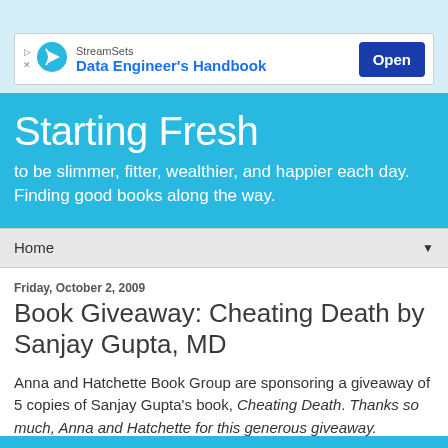[Figure (other): StreamSets advertisement banner with logo, 'Data Engineer's Handbook' text, and blue 'Open' button]
Starting Fresh
to be slimmer, fitter, wealthier, and happier each day. Finding good books along the way.
Home
Friday, October 2, 2009
Book Giveaway: Cheating Death by Sanjay Gupta, MD
Anna and Hatchette Book Group are sponsoring a giveaway of 5 copies of Sanjay Gupta's book, Cheating Death. Thanks so much, Anna and Hatchette for this generous giveaway.